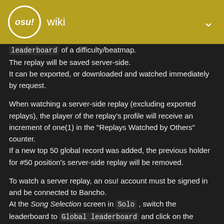osu! wiki
leaderboard of a difficulty/beatmap.
The replay will be saved server-side.
It can be exported, or downloaded and watched immediately by request.
When watching a server-side replay (excluding exported replays), the player of the replay's profile will receive an increment of one(1) in the "Replays Watched by Others" counter.
If a new top 50 global record was added, the previous holder for #50 position's server-side replay will be removed.
To watch a server replay, an osu! account must be signed in and be connected to Bancho.
At the Song Selection screen in Solo , switch the leaderboard to Global leaderboard and click on the preferred player at the leaderboard to watch the replay.
Press on the Watch replay button and osu! will download the replay file from the Bancho as shown in the left of the